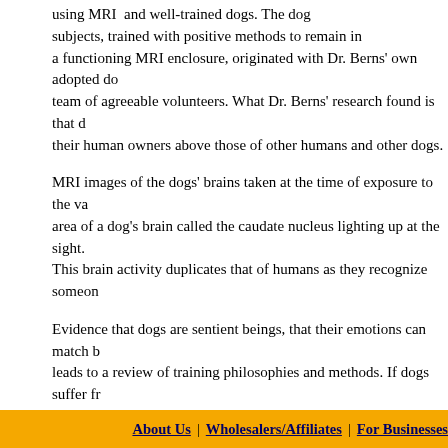using MRI and well-trained dogs. The dog subjects, trained with positive methods to remain in a functioning MRI enclosure, originated with Dr. Berns' own adopted do team of agreeable volunteers. What Dr. Berns' research found is that d their human owners above those of other humans and other dogs.
MRI images of the dogs' brains taken at the time of exposure to the va area of a dog's brain called the caudate nucleus lighting up at the sight. This brain activity duplicates that of humans as they recognize someon
Evidence that dogs are sentient beings, that their emotions can match leads to a review of training philosophies and methods. If dogs suffer fr than has been believed, the hope is that the use of positive training will these findings and similarities. Of course, there is also the potential tha brain can lead to yet-to-be-discovered positive methods—discoveries t enjoyment, and that will be welcomed by clicker training proponents w
Read the full article.
Learn more about Dr. Gregory Berns and his research.
» Add new comment   Email this Company blog   ShareThis
About Us | Wholesalers/Affiliates | For Businesses